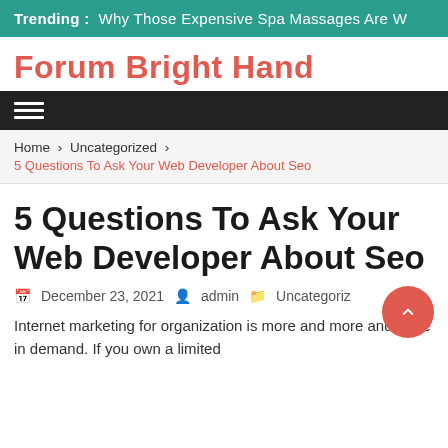Trending :  Why Those Expensive Spa Massages Are W
Forum Bright Hand
Home › Uncategorized › 5 Questions To Ask Your Web Developer About Seo
5 Questions To Ask Your Web Developer About Seo
December 23, 2021  admin  Uncategoriz
Internet marketing for organization is more and more and more in demand. If you own a limited